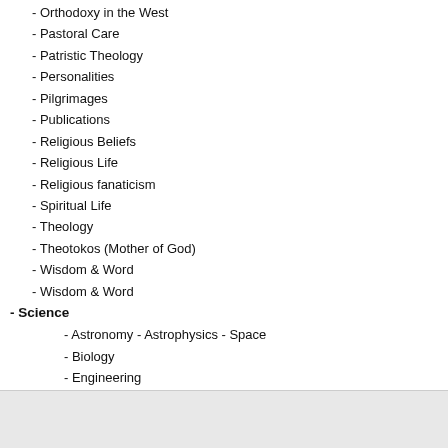- Orthodoxy in the West
- Pastoral Care
- Patristic Theology
- Personalities
- Pilgrimages
- Publications
- Religious Beliefs
- Religious Life
- Religious fanaticism
- Spiritual Life
- Theology
- Theotokos (Mother of God)
- Wisdom & Word
- Wisdom & Word
- Science
- Astronomy - Astrophysics - Space
- Biology
- Engineering
- Global Economy
- Philosophy
- Political Science
- Science and Religion
- Zoology